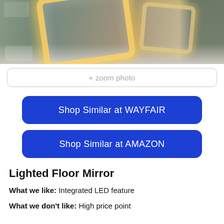[Figure (photo): LED lighted floor mirrors with warm glowing borders displayed in a modern room with marble flooring, a brown leather chair, and a green accent wall.]
+ zoom photo
Shop Similar at WAYFAIR
Shop Similar at AMAZON
Lighted Floor Mirror
What we like: Integrated LED feature
What we don't like: High price point